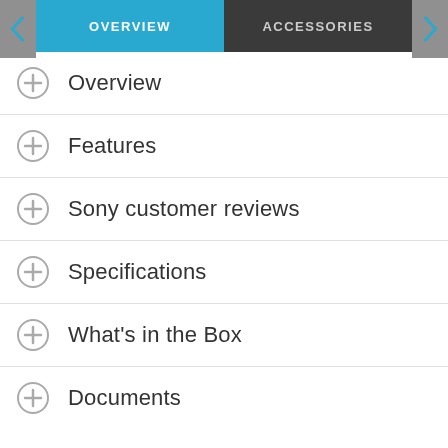OVERVIEW | ACCESSORIES
Overview
Features
Sony customer reviews
Specifications
What's in the Box
Documents